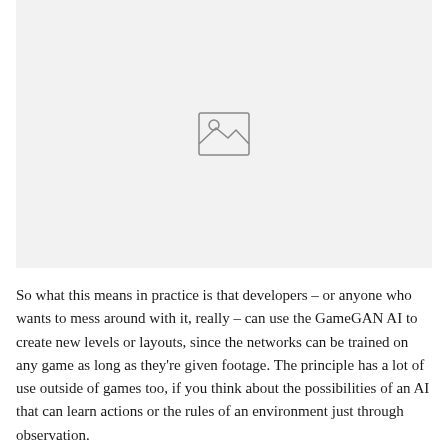[Figure (illustration): Placeholder image box with a light gray background and a small image placeholder icon (mountain and sun outline) centered within it.]
So what this means in practice is that developers – or anyone who wants to mess around with it, really – can use the GameGAN AI to create new levels or layouts, since the networks can be trained on any game as long as they're given footage. The principle has a lot of use outside of games too, if you think about the possibilities of an AI that can learn actions or the rules of an environment just through observation.